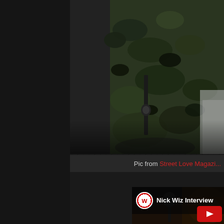[Figure (photo): Person wearing a camouflage jacket, seated, photographed from torso down, dark background]
Pic from Street Love Magazi...
[Figure (screenshot): YouTube video thumbnail for Nick Wiz Interview, showing studio setting with microphone and person, with a red play button in the bottom right corner and channel logo]